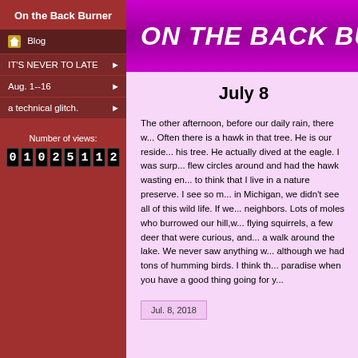On the Back Burner
Blog
IT'S NEVER TO LATE
Aug. 1--16
a technical glitch.
Number of views:
01025112
ON THE BACK BU...
July 8
The other afternoon, before our daily rain, there w... Often there is a hawk in that tree. He is our reside... his tree. He actually dived at the eagle. I was surp... flew circles around and had the hawk wasting en... to think that I live in a nature preserve. I see so m... in Michigan, we didn't see all of this wild life. If we... neighbors. Lots of moles who burrowed our hill,w... flying squirrels, a few deer that were curious, and... a walk around the lake. We never saw anything w... although we had tons of humming birds. I think th... paradise when you have a good thing going for y...
Jul. 8, 2018